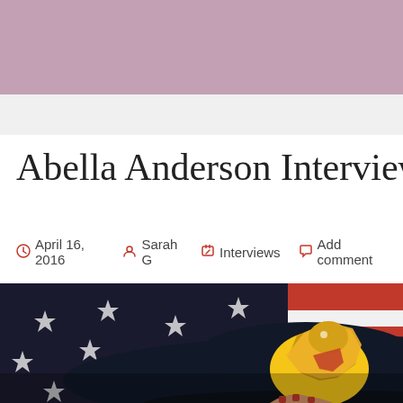Abella Anderson Interview
April 16, 2016  Sarah G  Interviews  Add comment
[Figure (photo): Person holding a navy Florida Panthers snapback hat in front of an American flag backdrop with red, white and blue stars and stripes. Red nail polish visible on the hand.]